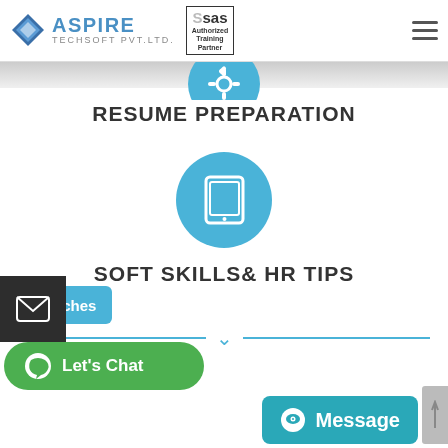[Figure (logo): Aspire Techsoft Pvt. Ltd. logo with blue diamond and SAS Authorized Training Partner badge]
RESUME PREPARATION
[Figure (illustration): Blue circle icon with tablet/device image representing Soft Skills & HR Tips section]
SOFT SKILLS& HR TIPS
[Figure (infographic): Batches button on left sidebar, horizontal divider with chevron down arrow]
[Figure (infographic): Email icon button (dark background), Let's Chat green WhatsApp button, Message teal button]